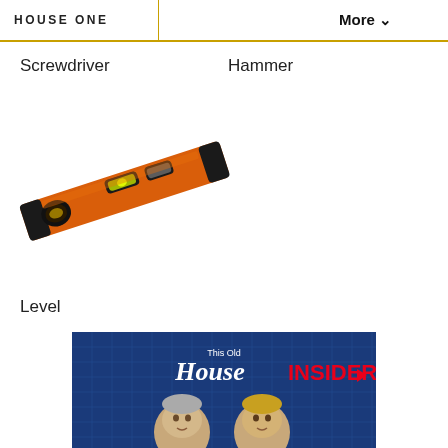HOUSE ONE   More ▾
Screwdriver
Hammer
[Figure (photo): An orange spirit level / bubble level tool photographed diagonally against a white background]
Level
[Figure (photo): This Old House INSIDER advertisement banner showing two men against a blue grid background]